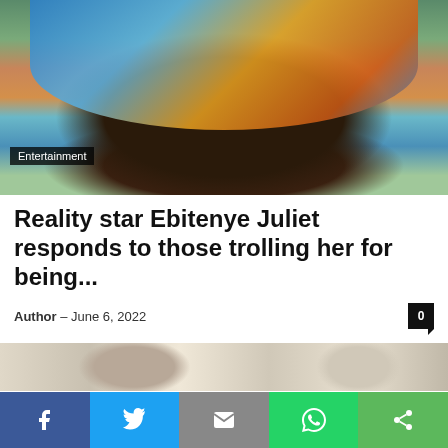[Figure (photo): Close-up photo of a person wearing a colorful patchwork headwrap in blue, orange, and teal colors against a green background.]
Entertainment
Reality star Ebitenye Juliet responds to those trolling her for being...
Author – June 6, 2022
[Figure (photo): Partial photo strip showing a person, cropped.]
We use cookies on our website to give you the most relevant experience by remembering your preferences and repeat visits. By clicking “Accept All”, you consent to the use of ALL the cookies. However, you may visit "Cookie Settings" to provide a controlled consent.
Social share bar with Facebook, Twitter, Mail, WhatsApp, and Share buttons